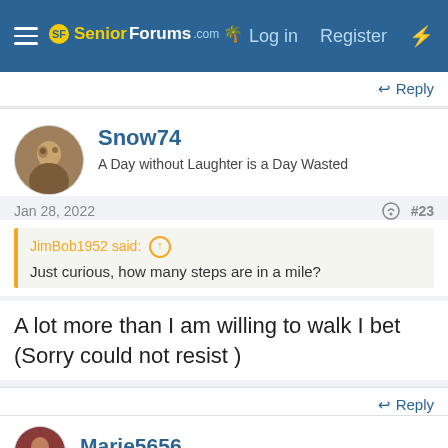SeniorForums.com | Log in | Register
Reply
Snow74
A Day without Laughter is a Day Wasted
Jan 28, 2022  #23
JimBob1952 said:
Just curious, how many steps are in a mile?
A lot more than I am willing to walk I bet (Sorry could not resist )
Reply
Marie5656